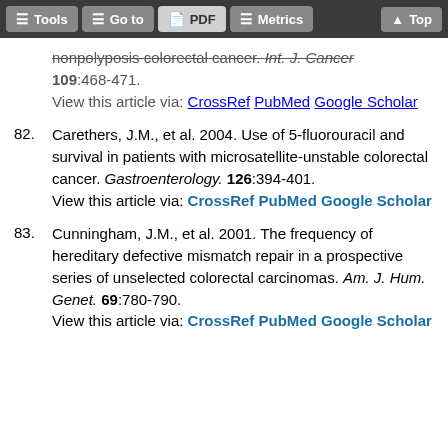Tools | Go to | PDF | Metrics | Top
nonpolyposis colorectal cancer. Int. J. Cancer 109:468-471. View this article via: CrossRef PubMed Google Scholar
82. Carethers, J.M., et al. 2004. Use of 5-fluorouracil and survival in patients with microsatellite-unstable colorectal cancer. Gastroenterology. 126:394-401. View this article via: CrossRef PubMed Google Scholar
83. Cunningham, J.M., et al. 2001. The frequency of hereditary defective mismatch repair in a prospective series of unselected colorectal carcinomas. Am. J. Hum. Genet. 69:780-790. View this article via: CrossRef PubMed Google Scholar